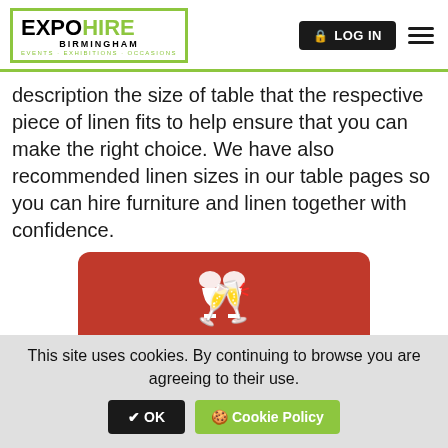EXPO HIRE BIRMINGHAM - EVENTS · EXHIBITIONS · OCCASIONS | LOG IN
description the size of table that the respective piece of linen fits to help ensure that you can make the right choice. We have also recommended linen sizes in our table pages so you can hire furniture and linen together with confidence.
[Figure (infographic): Red promotional card with wine glass clinking icon, text MINOR DAMAGE WAIVER FREE]
This site uses cookies. By continuing to browse you are agreeing to their use. ✔ OK 🍪 Cookie Policy